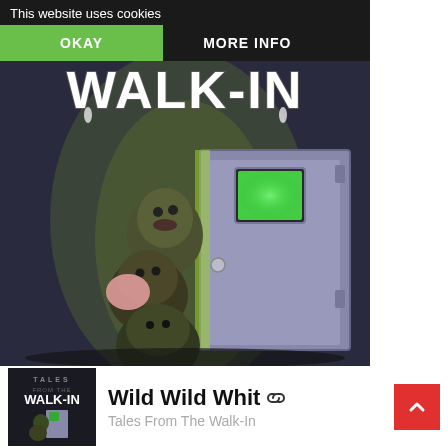This website uses cookies
OKAY
MORE INFO
[Figure (illustration): Horror-themed illustration titled 'Walk-In' showing three zombie-like figures peeking around an open door with glowing green light, dark background. Title text 'WALK-IN' in dripping horror font.]
[Figure (illustration): Thumbnail of the Tales From The Walk-In podcast/show cover art]
Wild Wild Whit
Tales From The Walk-In